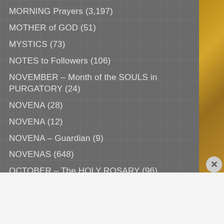MORNING Prayers (3,197)
MOTHER of GOD (51)
MYSTICS (73)
NOTES to Followers (106)
NOVEMBER – Month of the SOULS in PURGATORY (24)
NOVENA (28)
NOVENA (12)
NOVENA – Guardian (9)
NOVENAS (648)
OCTOBER – The HOLY ROSARY (96)
Advertisements
[Figure (photo): Advertisement banner for Macy's featuring 'KISS BORING LIPS GOODBYE' text on red background with woman's face and lips, and a SHOP NOW button with Macy's logo]